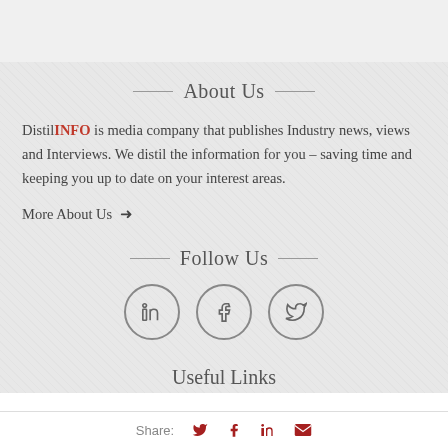About Us
DistilINFO is media company that publishes Industry news, views and Interviews. We distil the information for you – saving time and keeping you up to date on your interest areas.
More About Us →
Follow Us
[Figure (other): Three circular social media icons: LinkedIn (in), Facebook (f), Twitter (bird)]
Useful Links
Share: [Twitter] [Facebook] [LinkedIn] [Email]